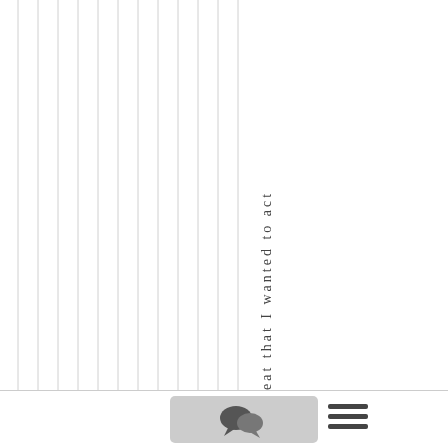[Figure (illustration): Vertical striped pattern on left side of page, multiple thin vertical lines evenly spaced, with vertical text reading 'eat that I wanted to act' on the right portion]
[Figure (illustration): Bottom navigation bar with a gray chat/comment icon button and a hamburger menu icon]